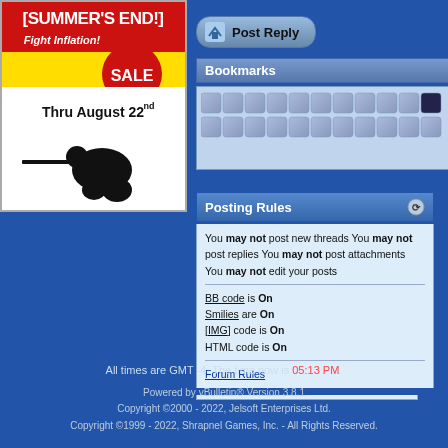[Figure (illustration): Summer's End Fight Inflation SALE advertisement with sniper silhouette, red and yellow design, text Thru August 22nd]
Post Reply
Bookmarks
[Figure (illustration): Two rows of social bookmarking icon buttons]
Posting Rules
You may not post new threads
You may not post replies
You may not post attachments
You may not edit your posts
BB code is On
Smilies are On
[IMG] code is On
HTML code is On
Forum Rules
All times are GMT -4. The time now is 05:13 PM.
Powered by vBulletin® Version 3.8.1
Copyright ©2000 - 2022, Jelsoft Enterprises Ltd.
Copyright ©1999 - 2022, Shrapnel Games, Inc. - All Rights Reserved.